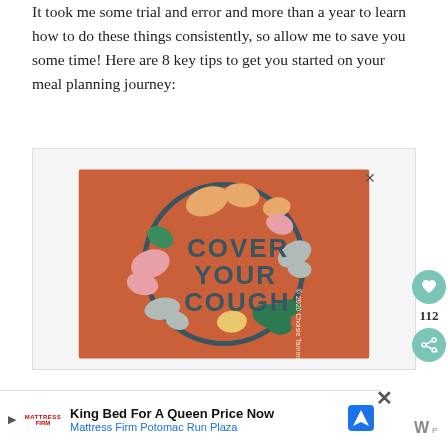It took me some trial and error and more than a year to learn how to do these things consistently, so allow me to save you some time! Here are 8 key tips to get you started on your meal planning journey:
[Figure (illustration): Advertisement showing a 'Cover Your Cough' circular badge/sticker on an orange background with colorful floral decorative shapes. Text reads 'COVER YOUR COUGH' in dark teal bold lettering inside a circle with a dark teal border. Copyright 2020 Choisie Tamms noted along the right side of the circle.]
[Figure (infographic): Bottom advertisement bar for Mattress Firm with logo, text 'King Bed For A Queen Price Now', subtext 'Mattress Firm Potomac Run Plaza', and a blue direction/navigation icon on the right.]